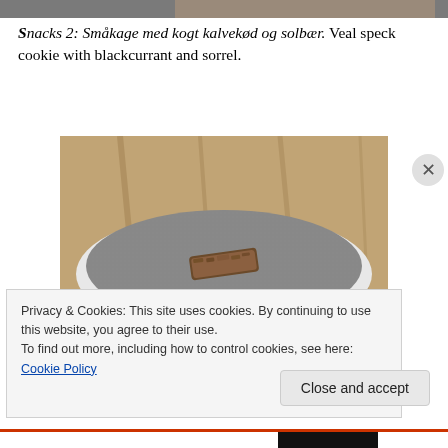[Figure (photo): Top portion of a food photo partially cropped at the top of the page]
Snacks 2: Småkage med kogt kalvekød og solbær. Veal speck cookie with blackcurrant and sorrel.
[Figure (photo): A dark brown rectangular veal speck cookie placed in the center of a round grey felt coaster on a wooden surface]
Privacy & Cookies: This site uses cookies. By continuing to use this website, you agree to their use.
To find out more, including how to control cookies, see here: Cookie Policy
Close and accept